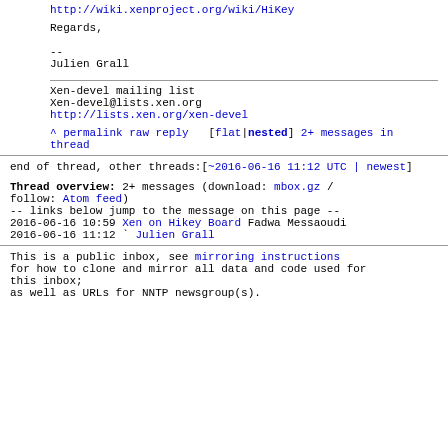http://wiki.xenproject.org/wiki/HiKey
Regards,

--
Julien Grall
Xen-devel mailing list
Xen-devel@lists.xen.org
http://lists.xen.org/xen-devel
^ permalink raw reply  [flat|nested] 2+ messages in thread
end of thread, other threads:[~2016-06-16 11:12 UTC | newest]
Thread overview: 2+ messages (download: mbox.gz / follow: Atom feed)
-- links below jump to the message on this page --
2016-06-16 10:59 Xen on Hikey Board Fadwa Messaoudi
2016-06-16 11:12 ` Julien Grall
This is a public inbox, see mirroring instructions for how to clone and mirror all data and code used for this inbox;
as well as URLs for NNTP newsgroup(s).